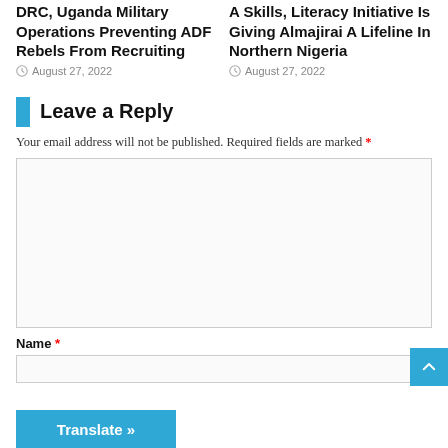DRC, Uganda Military Operations Preventing ADF Rebels From Recruiting
August 27, 2022
A Skills, Literacy Initiative Is Giving Almajirai A Lifeline In Northern Nigeria
August 27, 2022
Leave a Reply
Your email address will not be published. Required fields are marked *
Name *